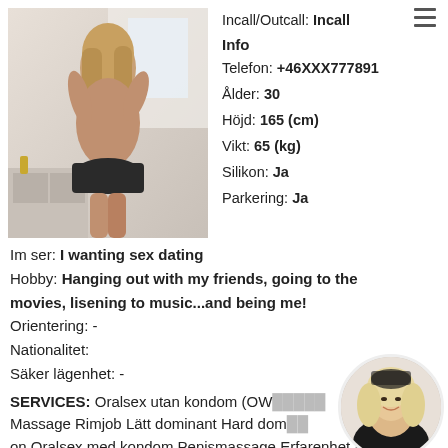[Figure (photo): Photo of a woman from behind wearing a dark skirt, indoors]
Incall/Outcall: Incall
Info
Telefon: +46XXX777891
Ålder: 30
Höjd: 165 (cm)
Vikt: 65 (kg)
Silikon: Ja
Parkering: Ja
Im ser: I wanting sex dating
Hobby: Hanging out with my friends, going to the movies, lisening to music...and being me!
Orientering: -
Nationalitet:
Säker lägenhet: -
SERVICES: Oralsex utan kondom (OW... Massage Rimjob Lätt dominant Hard dom... on Oralsex med kondom Penismassage Erfarenhet av
[Figure (photo): Circular thumbnail photo of a blonde woman smiling]